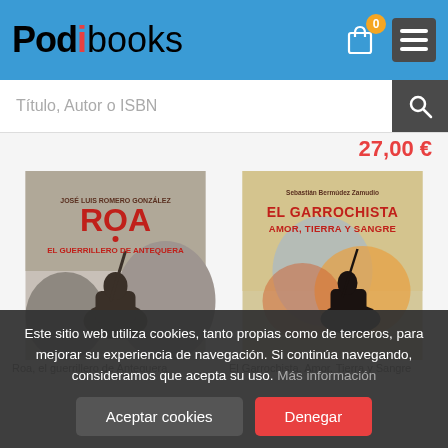Podibooks
Título, Autor o ISBN
27,00 €
[Figure (illustration): Book cover: ROA El Guerrillero de Antequera by José Luis Romero González. Dark historical cover with warrior on horseback.]
[Figure (illustration): Book cover: El Garrochista Amor, Tierra y Sangre by Sebastián Bermúdez Zamudio. Colorful cover with horseman silhouette.]
Roa, el guerrillero de Antequera. Amor, Tierra y Sangre
Este sitio web utiliza cookies, tanto propias como de terceros, para mejorar su experiencia de navegación. Si continúa navegando, consideramos que acepta su uso. Más información
Aceptar cookies
Denegar